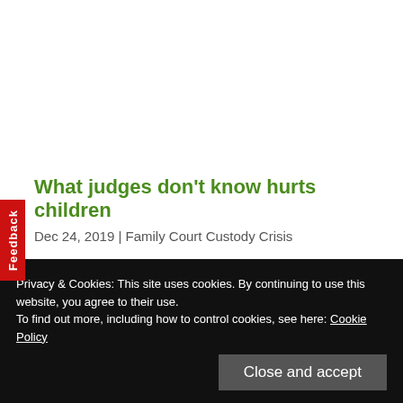What judges don't know hurts children
Dec 24, 2019 | Family Court Custody Crisis
The standard practices are not just wrong in cases involving domestic violence and child abuse; they are dangerous! What judges don't know is hurting kids.
Privacy & Cookies: This site uses cookies. By continuing to use this website, you agree to their use.
To find out more, including how to control cookies, see here: Cookie Policy
Close and accept